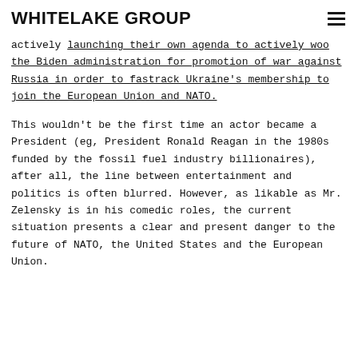WHITELAKE GROUP
actively launching their own agenda to actively woo the Biden administration for promotion of war against Russia in order to fastrack Ukraine's membership to join the European Union and NATO.
This wouldn't be the first time an actor became a President (eg, President Ronald Reagan in the 1980s funded by the fossil fuel industry billionaires), after all, the line between entertainment and politics is often blurred. However, as likable as Mr. Zelensky is in his comedic roles, the current situation presents a clear and present danger to the future of NATO, the United States and the European Union.